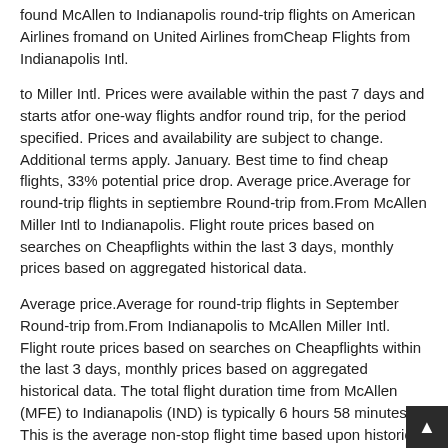found McAllen to Indianapolis round-trip flights on American Airlines fromand on United Airlines fromCheap Flights from Indianapolis Intl.
to Miller Intl. Prices were available within the past 7 days and starts atfor one-way flights andfor round trip, for the period specified. Prices and availability are subject to change. Additional terms apply. January. Best time to find cheap flights, 33% potential price drop. Average price.Average for round-trip flights in septiembre Round-trip from.From McAllen Miller Intl to Indianapolis. Flight route prices based on searches on Cheapflights within the last 3 days, monthly prices based on aggregated historical data.
Average price.Average for round-trip flights in September Round-trip from.From Indianapolis to McAllen Miller Intl. Flight route prices based on searches on Cheapflights within the last 3 days, monthly prices based on aggregated historical data. The total flight duration time from McAllen (MFE) to Indianapolis (IND) is typically 6 hours 58 minutes. This is the average non-stop flight time based upon historical flights for this route.